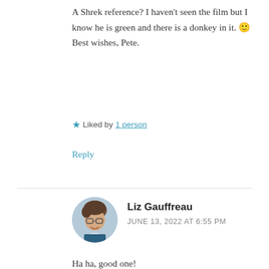A Shrek reference? I haven't seen the film but I know he is green and there is a donkey in it. 🙂 Best wishes, Pete.
★ Liked by 1 person
Reply
[Figure (photo): Circular avatar photo of Liz Gauffreau]
Liz Gauffreau
JUNE 13, 2022 AT 6:55 PM
Ha ha, good one!
★ Liked by 2 people
Reply